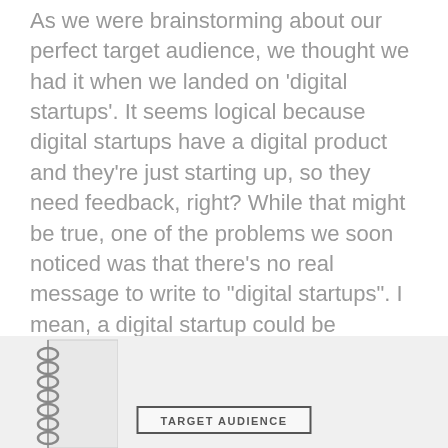As we were brainstorming about our perfect target audience, we thought we had it when we landed on 'digital startups'. It seems logical because digital startups have a digital product and they're just starting up, so they need feedback, right? While that might be true, one of the problems we soon noticed was that there's no real message to write to "digital startups". I mean, a digital startup could be anything really. So we need to narrow it down some more.
[Figure (illustration): A notebook with spiral binding on the left side, partially visible, with a label box in the center reading 'TARGET AUDIENCE']